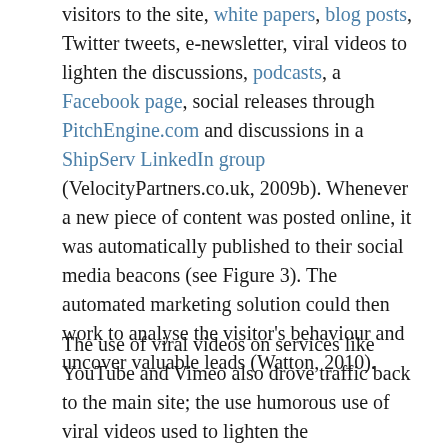visitors to the site, white papers, blog posts, Twitter tweets, e-newsletter, viral videos to lighten the discussions, podcasts, a Facebook page, social releases through PitchEngine.com and discussions in a ShipServ LinkedIn group (VelocityPartners.co.uk, 2009b). Whenever a new piece of content was posted online, it was automatically published to their social media beacons (see Figure 3). The automated marketing solution could then work to analyse the visitor's behaviour and uncover valuable leads (Watton, 2010).
The use of viral videos on services like YouTube and Vimeo also drove traffic back to the main site; the use humorous use of viral videos used to lighten the